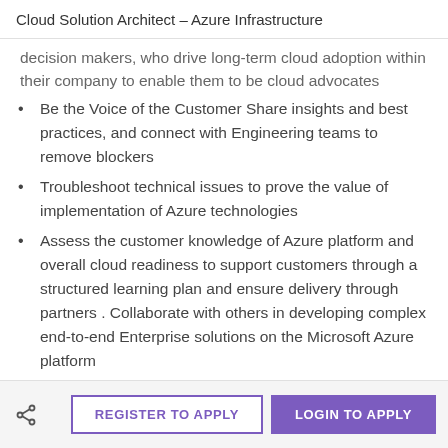Cloud Solution Architect – Azure Infrastructure
decision makers, who drive long-term cloud adoption within their company to enable them to be cloud advocates
Be the Voice of the Customer Share insights and best practices, and connect with Engineering teams to remove blockers
Troubleshoot technical issues to prove the value of implementation of Azure technologies
Assess the customer knowledge of Azure platform and overall cloud readiness to support customers through a structured learning plan and ensure delivery through partners . Collaborate with others in developing complex end-to-end Enterprise solutions on the Microsoft Azure platform
Maintain technical skills and knowledge of market trends and competitive insights collaborate and